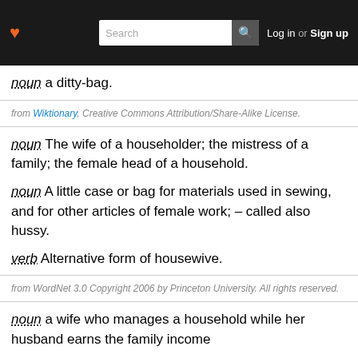Search | Log in or Sign up
noun a ditty-bag.
from Wiktionary, Creative Commons Attribution/Share-Alike License.
noun The wife of a householder; the mistress of a family; the female head of a household.
noun A little case or bag for materials used in sewing, and for other articles of female work; – called also hussy.
verb Alternative form of housewive.
from WordNet 3.0 Copyright 2006 by Princeton University. All rights reserved.
noun a wife who manages a household while her husband earns the family income
Etymologies
Support